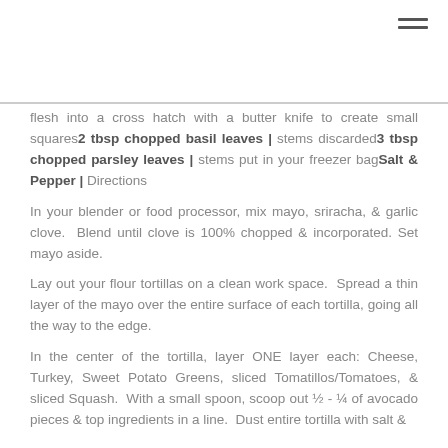[Figure (other): Hamburger menu icon (three horizontal lines) in top-right corner]
flesh into a cross hatch with a butter knife to create small squares2 tbsp chopped basil leaves | stems discarded3 tbsp chopped parsley leaves | stems put in your freezer bagSalt & Pepper | Directions
In your blender or food processor, mix mayo, sriracha, & garlic clove.  Blend until clove is 100% chopped & incorporated. Set mayo aside.
Lay out your flour tortillas on a clean work space.  Spread a thin layer of the mayo over the entire surface of each tortilla, going all the way to the edge.
In the center of the tortilla, layer ONE layer each: Cheese, Turkey, Sweet Potato Greens, sliced Tomatillos/Tomatoes, & sliced Squash.  With a small spoon, scoop out ½ - ¼ of avocado pieces & top ingredients in a line.  Dust entire tortilla with salt &